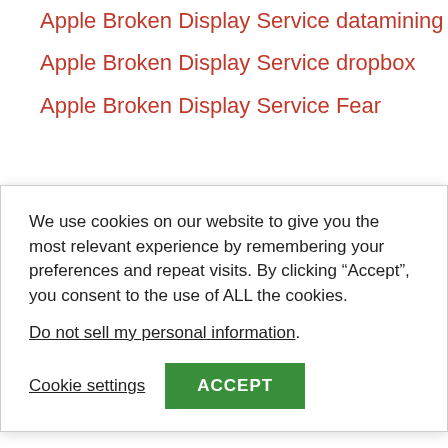Apple Broken Display Service datamining
Apple Broken Display Service dropbox
Apple Broken Display Service Fear
We use cookies on our website to give you the most relevant experience by remembering your preferences and repeat visits. By clicking “Accept”, you consent to the use of ALL the cookies.
Do not sell my personal information.
Cookie settings  ACCEPT
Apple Broken Display Service I doubt it
Apple Broken Display Service Mac users do this update NOW!